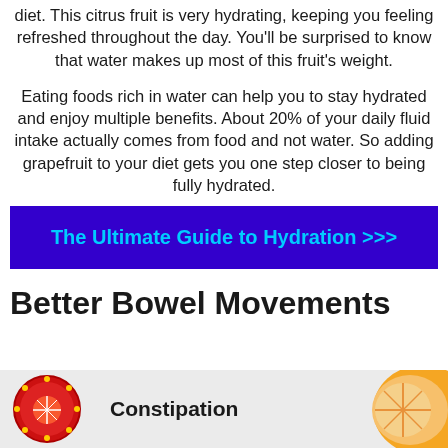diet. This citrus fruit is very hydrating, keeping you feeling refreshed throughout the day. You'll be surprised to know that water makes up most of this fruit's weight.
Eating foods rich in water can help you to stay hydrated and enjoy multiple benefits. About 20% of your daily fluid intake actually comes from food and not water. So adding grapefruit to your diet gets you one step closer to being fully hydrated.
[Figure (infographic): Blue/purple banner with cyan bold text: The Ultimate Guide to Hydration >>>]
Better Bowel Movements
[Figure (infographic): Light gray background with a red circular badge/logo on the left and a grapefruit slice on the right. The word 'Constipation' in bold is visible in the center-right area.]